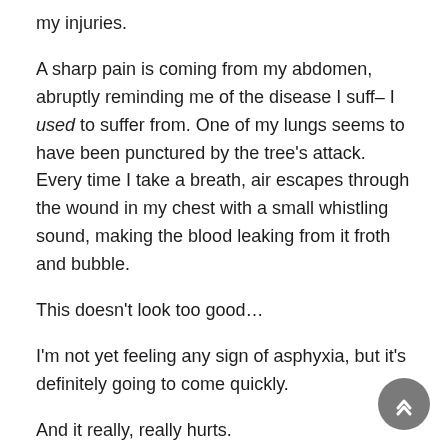my injuries.
A sharp pain is coming from my abdomen, abruptly reminding me of the disease I suff– I used to suffer from. One of my lungs seems to have been punctured by the tree's attack. Every time I take a breath, air escapes through the wound in my chest with a small whistling sound, making the blood leaking from it froth and bubble.
This doesn't look too good…
I'm not yet feeling any sign of asphyxia, but it's definitely going to come quickly.
And it really, really hurts.
But how am I supposed to fix that kind of damage
I would need to plug the hole, somehow, but I don't